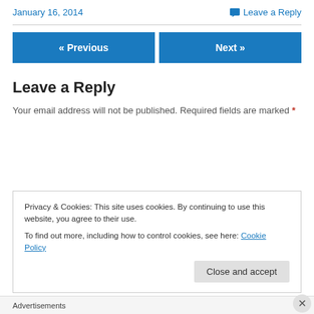January 16, 2014
Leave a Reply
« Previous
Next »
Leave a Reply
Your email address will not be published. Required fields are marked *
Privacy & Cookies: This site uses cookies. By continuing to use this website, you agree to their use.
To find out more, including how to control cookies, see here: Cookie Policy
Close and accept
Advertisements